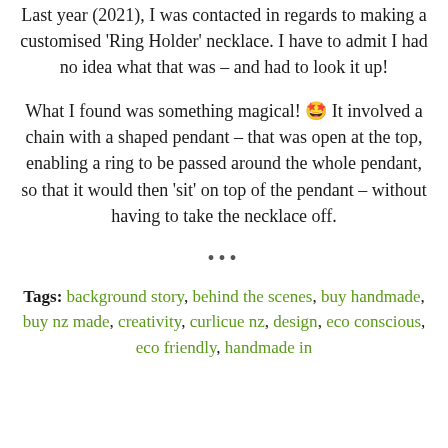Last year (2021), I was contacted in regards to making a customised 'Ring Holder' necklace. I have to admit I had no idea what that was – and had to look it up!
What I found was something magical! 🤩 It involved a chain with a shaped pendant – that was open at the top, enabling a ring to be passed around the whole pendant, so that it would then 'sit' on top of the pendant – without having to take the necklace off.
...
Tags: background story, behind the scenes, buy handmade, buy nz made, creativity, curlicue nz, design, eco conscious, eco friendly, handmade in